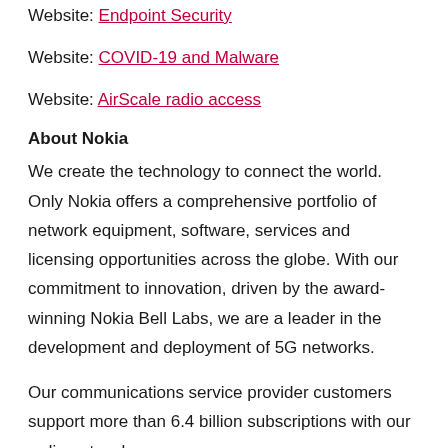Website: Endpoint Security
Website: COVID-19 and Malware
Website: AirScale radio access
About Nokia
We create the technology to connect the world. Only Nokia offers a comprehensive portfolio of network equipment, software, services and licensing opportunities across the globe. With our commitment to innovation, driven by the award-winning Nokia Bell Labs, we are a leader in the development and deployment of 5G networks.
Our communications service provider customers support more than 6.4 billion subscriptions with our radio networks,